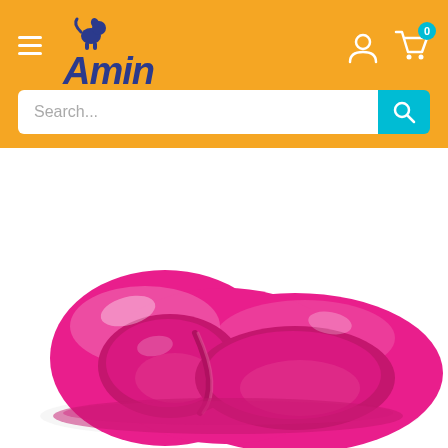[Figure (screenshot): Amin Pet Shop website header with orange background, hamburger menu, logo, user and cart icons, and search bar]
[Figure (photo): Pink heart-shaped double pet food bowl (two compartments) on white background]